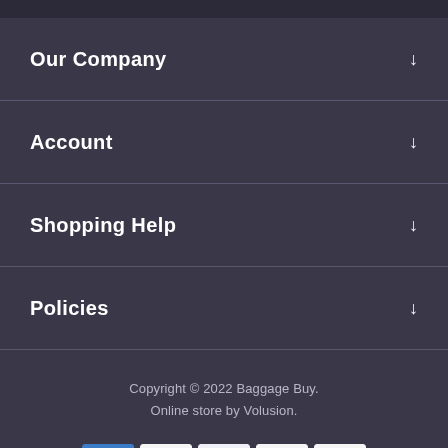Our Company
Account
Shopping Help
Policies
Copyright © 2022 Baggage Buy.
Online store by Volusion.
[Figure (other): Payment method icons: American Express, Discover, Visa, Mastercard, PayPal]